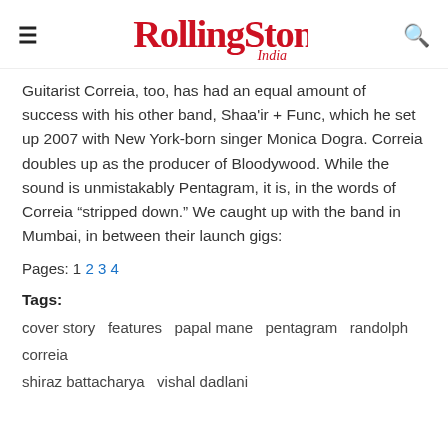Rolling Stone India
Guitarist Correia, too, has had an equal amount of success with his other band, Shaa’ir + Func, which he set up 2007 with New York-born singer Monica Dogra. Correia doubles up as the producer of Bloodywood. While the sound is unmistakably Pentagram, it is, in the words of Correia “stripped down.” We caught up with the band in Mumbai, in between their launch gigs:
Pages: 1 2 3 4
Tags: cover story   features   papal mane   pentagram   randolph correia   shiraz battacharya   vishal dadlani